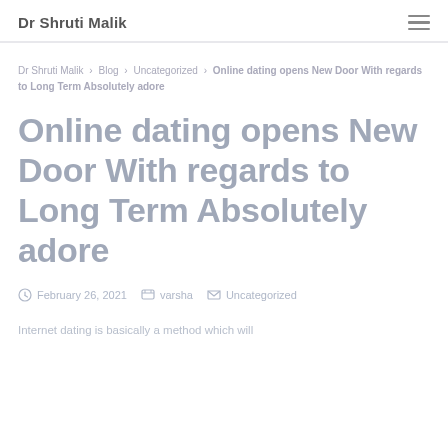Dr Shruti Malik
Dr Shruti Malik › Blog › Uncategorized › Online dating opens New Door With regards to Long Term Absolutely adore
Online dating opens New Door With regards to Long Term Absolutely adore
February 26, 2021   varsha   Uncategorized
Internet dating is basically a method which will